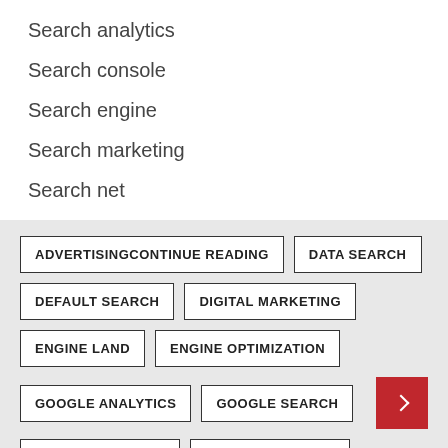Search analytics
Search console
Search engine
Search marketing
Search net
ADVERTISINGCONTINUE READING
DATA SEARCH
DEFAULT SEARCH
DIGITAL MARKETING
ENGINE LAND
ENGINE OPTIMIZATION
GOOGLE ANALYTICS
GOOGLE SEARCH